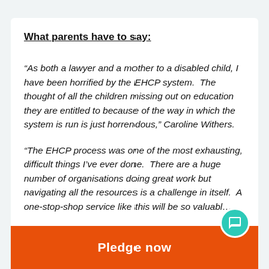What parents have to say:
“As both a lawyer and a mother to a disabled child, I have been horrified by the EHCP system. The thought of all the children missing out on education they are entitled to because of the way in which the system is run is just horrendous,” Caroline Withers.
“The EHCP process was one of the most exhausting, difficult things I’ve ever done. There are a huge number of organisations doing great work but navigating all the resources is a challenge in itself. A one-stop-shop service like this will be so valuable.”
Pledge now